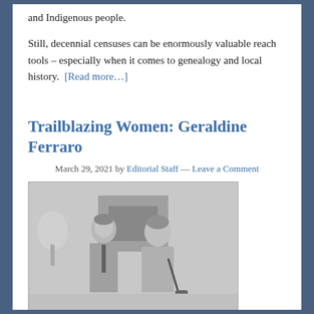and Indigenous people.
Still, decennial censuses can be enormously valuable reach tools – especially when it comes to genealogy and local history. [Read more…]
Trailblazing Women: Geraldine Ferraro
March 29, 2021 by Editorial Staff — Leave a Comment
[Figure (photo): Black and white photograph of two people conversing in what appears to be a formal room, likely the White House. A man in a suit and a woman with short hair and a handbag are facing each other.]
Geraldine Ferraro, born in Newburgh and later